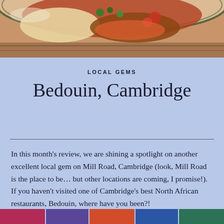[Figure (photo): Close-up photo of a North African dish — appears to be a tagine or stew with fish, vegetables, and couscous in a decorative bowl with striped rim]
LOCAL GEMS
Bedouin, Cambridge
In this month's review, we are shining a spotlight on another excellent local gem on Mill Road, Cambridge (look, Mill Road is the place to be… but other locations are coming, I promise!). If you haven't visited one of Cambridge's best North African restaurants, Bedouin, where have you been?!
[Figure (photo): Strip of colorful photos at the bottom of the page, partially visible]